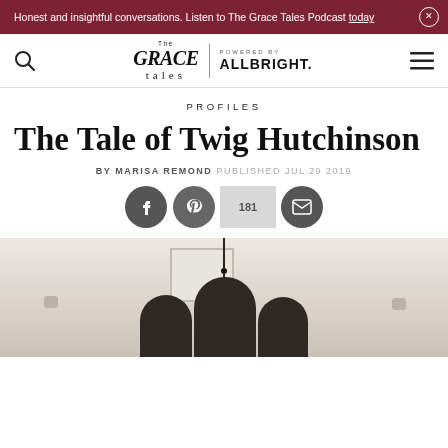Honest and insightful conversations. Listen to The Grace Tales Podcast today
[Figure (logo): The Grace Tales | Powered by ALLBRIGHT. navigation bar with search and menu icons]
PROFILES
The Tale of Twig Hutchinson
BY MARISA REMOND PUBLISHED JUL 29 2019
[Figure (infographic): Social sharing buttons: Facebook, Pinterest, 181 shares count, Email]
[Figure (photo): Photo of Twig Hutchinson and others in a kitchen with pendant lamp]